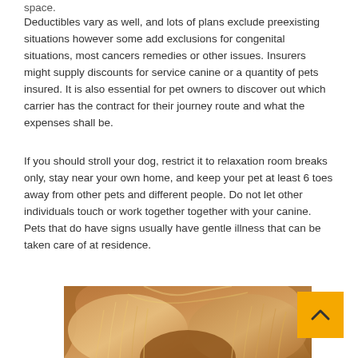space.
Deductibles vary as well, and lots of plans exclude preexisting situations however some add exclusions for congenital situations, most cancers remedies or other issues. Insurers might supply discounts for service canine or a quantity of pets insured. It is also essential for pet owners to discover out which carrier has the contract for their journey route and what the expenses shall be.
If you should stroll your dog, restrict it to relaxation room breaks only, stay near your own home, and keep your pet at least 6 toes away from other pets and different people. Do not let other individuals touch or work together together with your canine. Pets that do have signs usually have gentle illness that can be taken care of at residence.
[Figure (photo): Close-up photo of a fluffy dog's fur/ears, warm orange-brown tones, top of dog's head visible]